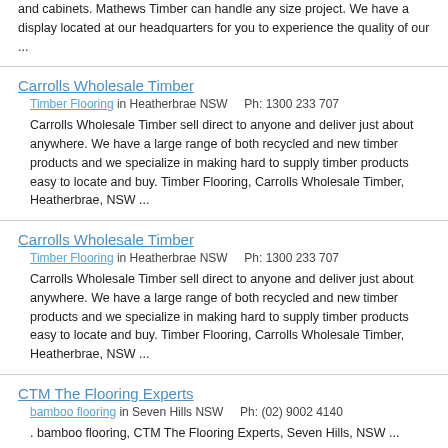and cabinets. Mathews Timber can handle any size project. We have a display located at our headquarters for you to experience the quality of our ...
Carrolls Wholesale Timber
Timber Flooring in Heatherbrae NSW    Ph: 1300 233 707
Carrolls Wholesale Timber sell direct to anyone and deliver just about anywhere. We have a large range of both recycled and new timber products and we specialize in making hard to supply timber products easy to locate and buy. Timber Flooring, Carrolls Wholesale Timber, Heatherbrae, NSW ...
Carrolls Wholesale Timber
Timber Flooring in Heatherbrae NSW    Ph: 1300 233 707
Carrolls Wholesale Timber sell direct to anyone and deliver just about anywhere. We have a large range of both recycled and new timber products and we specialize in making hard to supply timber products easy to locate and buy. Timber Flooring, Carrolls Wholesale Timber, Heatherbrae, NSW ...
CTM The Flooring Experts
bamboo flooring in Seven Hills NSW    Ph: (02) 9002 4140
. bamboo flooring, CTM The Flooring Experts, Seven Hills, NSW ...
Genesis Bamboo Flooring
Carpet and Flooring in Kurnell NSW    Ph: 0295255241